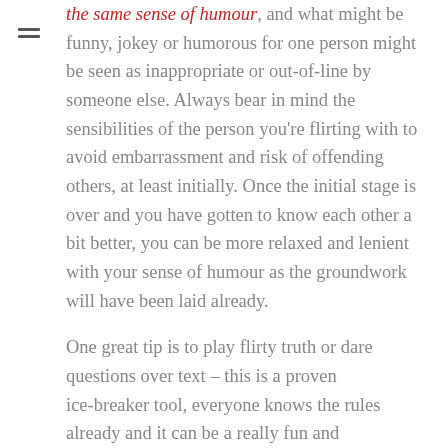the same sense of humour, and what might be funny, jokey or humorous for one person might be seen as inappropriate or out-of-line by someone else. Always bear in mind the sensibilities of the person you're flirting with to avoid embarrassment and risk of offending others, at least initially. Once the initial stage is over and you have gotten to know each other a bit better, you can be more relaxed and lenient with your sense of humour as the groundwork will have been laid already.

One great tip is to play flirty truth or dare questions over text – this is a proven ice-breaker tool, everyone knows the rules already and it can be a really fun and interesting way to